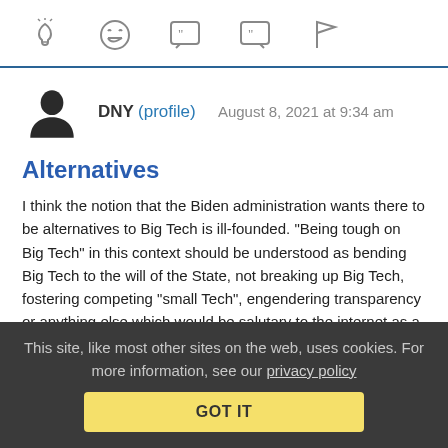[Figure (other): Toolbar with five icons: lightbulb, laughing emoji, open-quote speech bubble, close-quote speech bubble, and flag]
DNY (profile) August 8, 2021 at 9:34 am
Alternatives
I think the notion that the Biden administration wants there to be alternatives to Big Tech is ill-founded. "Being tough on Big Tech" in this context should be understood as bending Big Tech to the will of the State, not breaking up Big Tech, fostering competing "small Tech", engendering transparency or anything else which would be salutary to the internet as a modern agora. Remember who cheered the destruction of Parler.
This site, like most other sites on the web, uses cookies. For more information, see our privacy policy
GOT IT